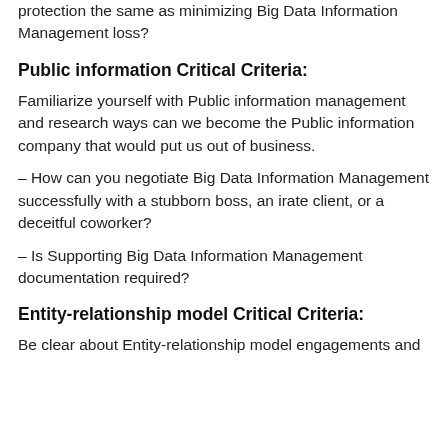protection the same as minimizing Big Data Information Management loss?
Public information Critical Criteria:
Familiarize yourself with Public information management and research ways can we become the Public information company that would put us out of business.
– How can you negotiate Big Data Information Management successfully with a stubborn boss, an irate client, or a deceitful coworker?
– Is Supporting Big Data Information Management documentation required?
Entity-relationship model Critical Criteria:
Be clear about Entity-relationship model engagements and